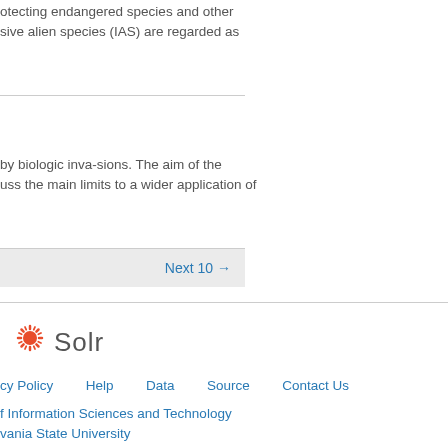otecting endangered species and other
sive alien species (IAS) are regarded as
by biologic inva-sions. The aim of the
uss the main limits to a wider application of
Next 10 →
[Figure (logo): Apache Solr logo with orange sunburst icon and 'Solr' text]
cy Policy   Help   Data   Source   Contact Us
f Information Sciences and Technology
vania State University